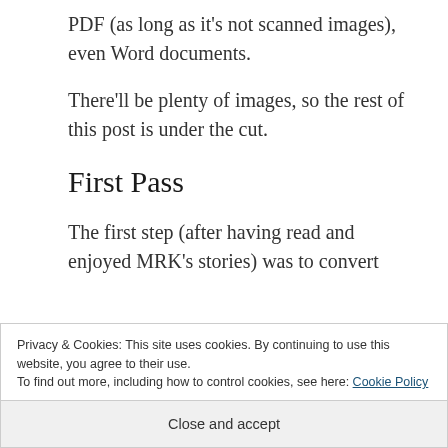PDF (as long as it's not scanned images), even Word documents.
There'll be plenty of images, so the rest of this post is under the cut.
First Pass
The first step (after having read and enjoyed MRK's stories) was to convert
Privacy & Cookies: This site uses cookies. By continuing to use this website, you agree to their use.
To find out more, including how to control cookies, see here: Cookie Policy
Close and accept
can't import Word documents either.